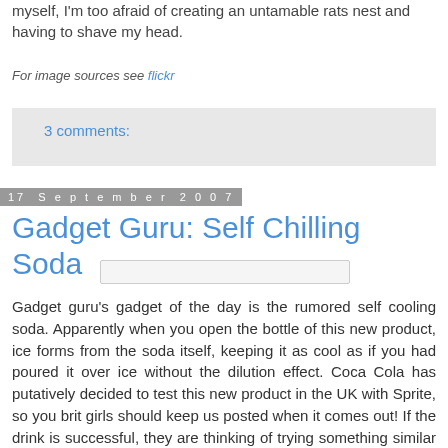myself, I'm too afraid of creating an untamable rats nest and having to shave my head.
For image sources see flickr
3 comments:
17 September 2007
Gadget Guru: Self Chilling Soda
[Figure (other): Image placeholder/thumbnail]
Gadget guru's gadget of the day is the rumored self cooling soda. Apparently when you open the bottle of this new product, ice forms from the soda itself, keeping it as cool as if you had poured it over ice without the dilution effect. Coca Cola has putatively decided to test this new product in the UK with Sprite, so you brit girls should keep us posted when it comes out! If the drink is successful, they are thinking of trying something similar with beer! Read more here.